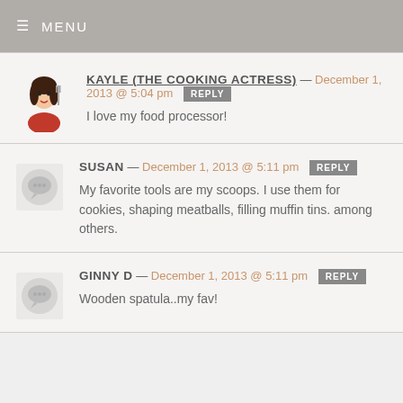MENU
KAYLE (THE COOKING ACTRESS) — December 1, 2013 @ 5:04 pm REPLY
I love my food processor!
SUSAN — December 1, 2013 @ 5:11 pm REPLY
My favorite tools are my scoops. I use them for cookies, shaping meatballs, filling muffin tins. among others.
GINNY D — December 1, 2013 @ 5:11 pm REPLY
Wooden spatula..my fav!